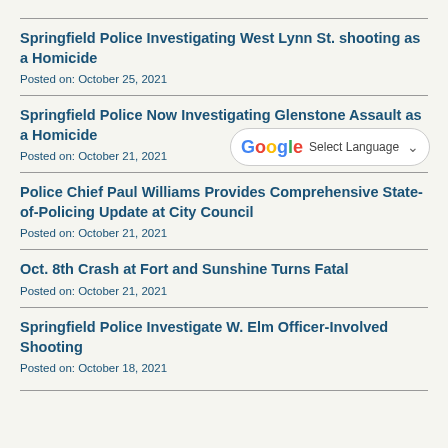Springfield Police Investigating West Lynn St. shooting as a Homicide
Posted on: October 25, 2021
Springfield Police Now Investigating Glenstone Assault as a Homicide
Posted on: October 21, 2021
Police Chief Paul Williams Provides Comprehensive State-of-Policing Update at City Council
Posted on: October 21, 2021
Oct. 8th Crash at Fort and Sunshine Turns Fatal
Posted on: October 21, 2021
Springfield Police Investigate W. Elm Officer-Involved Shooting
Posted on: October 18, 2021